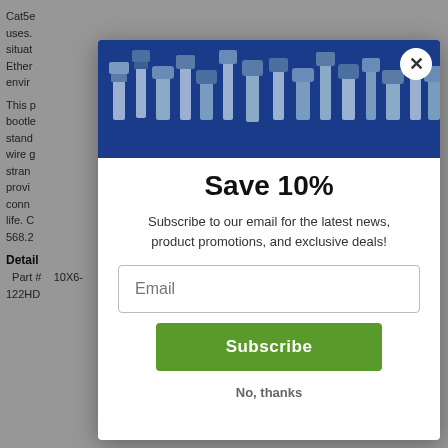Cat5e ... uses. ... situations ... Ethernet ... environments.
This ... bootleg ... standard ... wire gauge ... stranded ... provides ... connection ... life. C ... 568.2
Details
Part #   10X6-122HD
[Figure (screenshot): Email subscription popup modal with blue header showing cable connector silhouettes, 'Save 10%' headline, email subscription form with Subscribe button and 'No, thanks' link]
Save 10%
Subscribe to our email for the latest news, product promotions, and exclusive deals!
Email
Subscribe
No, thanks